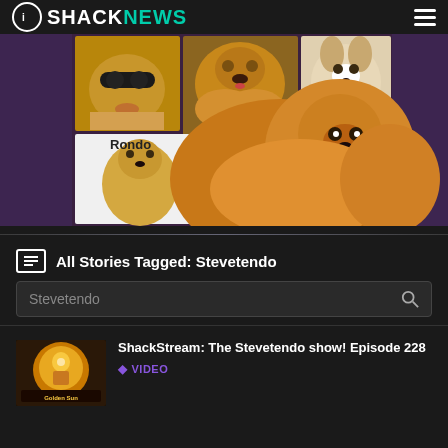ShackNews
[Figure (photo): Collage of dog photos on a purple background including a Pomeranian, a Chow Chow, a Corgi, and a Golden Retriever labeled 'Rondo']
All Stories Tagged: Stevetendo
Stevetendo (search bar placeholder)
ShackStream: The Stevetendo show! Episode 228
VIDEO